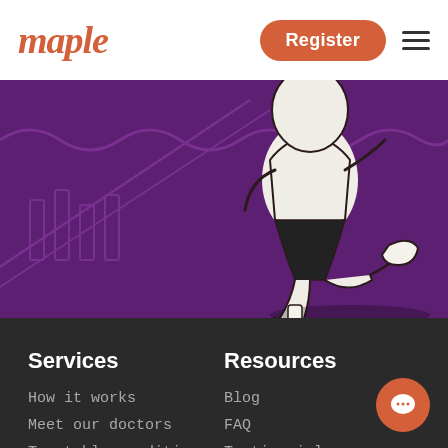maple
[Figure (illustration): Running person illustration on dark purple background with decorative wave/arrow patterns]
Services
Resources
How it works
Blog
Meet our doctors
FAQ
Treatable conditions
Testimonials
Pricing
Help desk